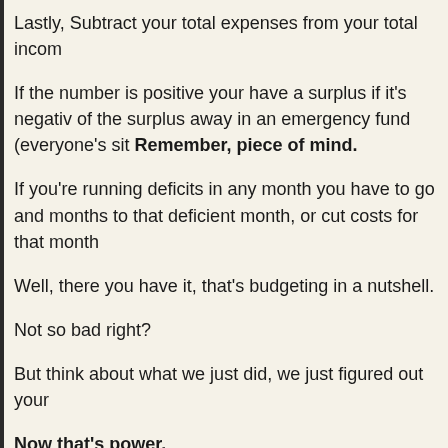Lastly, Subtract your total expenses from your total incom
If the number is positive your have a surplus if it's negativ of the surplus away in an emergency fund (everyone's sit Remember, piece of mind.
If you're running deficits in any month you have to go and months to that deficient month, or cut costs for that month
Well, there you have it, that's budgeting in a nutshell.
Not so bad right?
But think about what we just did, we just figured out your
Now that's power.
Get all my Tips: